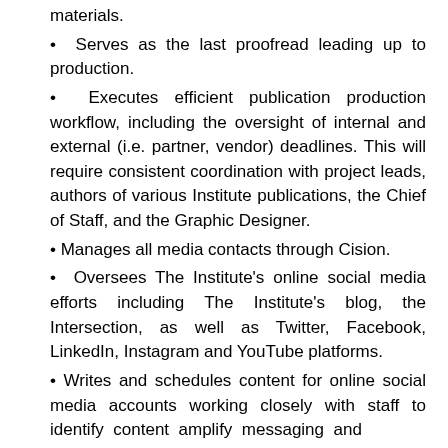materials.
• Serves as the last proofread leading up to production.
• Executes efficient publication production workflow, including the oversight of internal and external (i.e. partner, vendor) deadlines. This will require consistent coordination with project leads, authors of various Institute publications, the Chief of Staff, and the Graphic Designer.
• Manages all media contacts through Cision.
• Oversees The Institute's online social media efforts including The Institute's blog, the Intersection, as well as Twitter, Facebook, LinkedIn, Instagram and YouTube platforms.
• Writes and schedules content for online social media accounts working closely with staff to identify content amplify messaging and